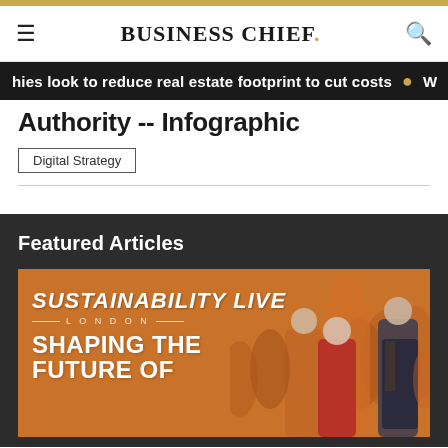BUSINESS CHIEF.
hies look to reduce real estate footprint to cut costs · W
Authority -- Infographic
Digital Strategy
Featured Articles
[Figure (photo): Sustainability Live London – Shaping the Future Of. Orange background with crowd of people.]